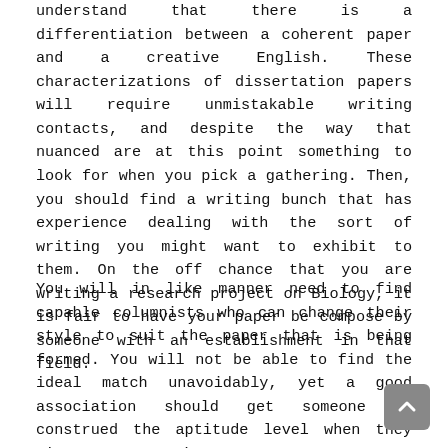understand that there is a differentiation between a coherent paper and a creative English. These characterizations of dissertation papers will require unmistakable writing contacts, and despite the way that nuanced are at this point something to look for when you pick a gathering. Then, you should find a writing bunch that has experience dealing with the sort of writing you might want to exhibit to them. On the off chance that you are writing a research project on Biology, it is fair to have your paper be compose by someone with an establishment in that field.
You will in like manner need to find capable columnists who can change their style to suit the paper that is being formed. You will not be able to find the ideal match unavoidably, yet a good association should get someone to construed the aptitude level when they give out occupations to